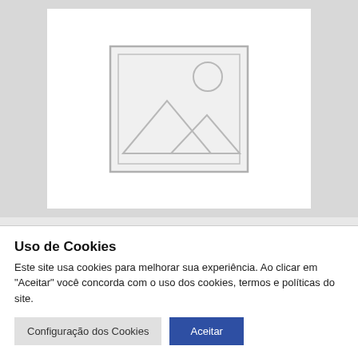[Figure (illustration): Product placeholder image with mountain/sun icon inside a white card on a gray background]
Mancal
Uso de Cookies
Este site usa cookies para melhorar sua experiência. Ao clicar em "Aceitar" você concorda com o uso dos cookies, termos e políticas do site.
Configuração dos Cookies  Aceitar